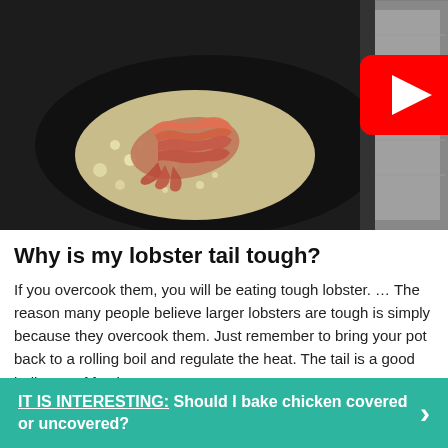[Figure (photo): A lobster tail sizzling in a dark frying pan with butter, with a YouTube play button overlay. Foil packet visible on the right side of the pan.]
Why is my lobster tail tough?
If you overcook them, you will be eating tough lobster. … The reason many people believe larger lobsters are tough is simply because they overcook them. Just remember to bring your pot back to a rolling boil and regulate the heat. The tail is a good indicator of freshness.
IT IS INTERESTING:  Should I bake chicken covered or uncovered?